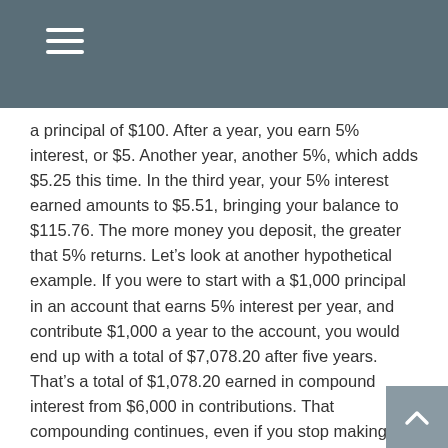a principal of $100. After a year, you earn 5% interest, or $5. Another year, another 5%, which adds $5.25 this time. In the third year, your 5% interest earned amounts to $5.51, bringing your balance to $115.76. The more money you deposit, the greater that 5% returns. Let’s look at another hypothetical example. If you were to start with a $1,000 principal in an account that earns 5% interest per year, and contribute $1,000 a year to the account, you would end up with a total of $7,078.20 after five years. That’s a total of $1,078.20 earned in compound interest from $6,000 in contributions. That compounding continues, even if you stop making deposits. All you really need to do is let that money stay put.¹
The earlier you start, the greater the compounding potential. If you’re investing for retirement in your twenties, you may gain an advantage over someone who